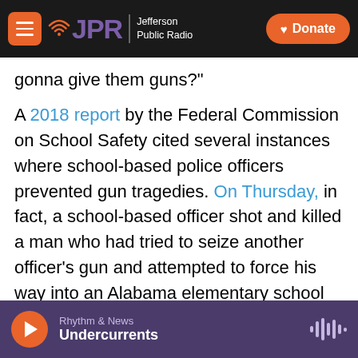JPR Jefferson Public Radio | Donate
gonna give them guns?"
A 2018 report by the Federal Commission on School Safety cited several instances where school-based police officers prevented gun tragedies. On Thursday, in fact, a school-based officer shot and killed a man who had tried to seize another officer's gun and attempted to force his way into an Alabama elementary school with 34 children inside. But a 2020 study by the Rand Corporation says the evidence is inconclusive about the effectiveness of arming teachers.
"[beginning of cut-off text]
Rhythm & News
Undercurrents